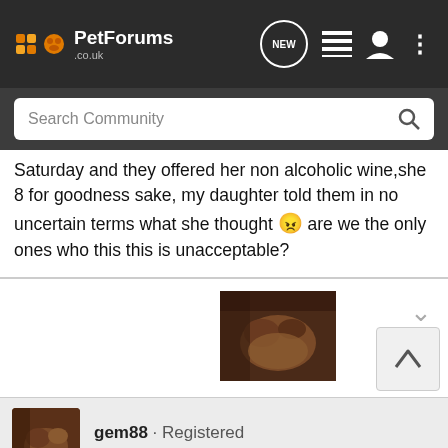PetForums .co.uk
Saturday and they offered her non alcoholic wine,she 8 for goodness sake, my daughter told them in no uncertain terms what she thought 😠 are we the only ones who this this is unacceptable?
[Figure (photo): Small thumbnail photo of what appears to be an animal (cat or dog) resting, brownish tones]
gem88 · Registered
Joined Jun 2, 2012 · 2,178 Posts